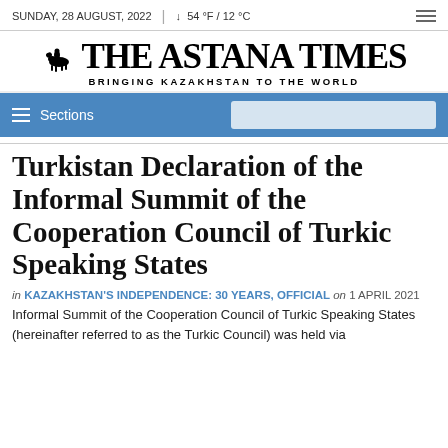SUNDAY, 28 AUGUST, 2022 | ↓ 54 °F / 12 °C
THE ASTANA TIMES — BRINGING KAZAKHSTAN TO THE WORLD
Sections
Turkistan Declaration of the Informal Summit of the Cooperation Council of Turkic Speaking States
in KAZAKHSTAN'S INDEPENDENCE: 30 YEARS, OFFICIAL on 1 APRIL 2021
Informal Summit of the Cooperation Council of Turkic Speaking States (hereinafter referred to as the Turkic Council) was held via